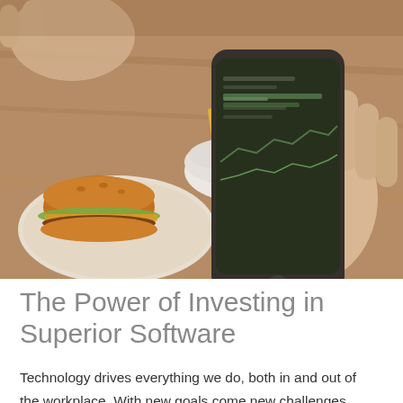[Figure (photo): Hands holding a smartphone displaying a financial/stock trading app with dark green chart interface, with a burger and fries on a plate in the background on a wooden table.]
The Power of Investing in Superior Software
Technology drives everything we do, both in and out of the workplace. With new goals come new challenges,